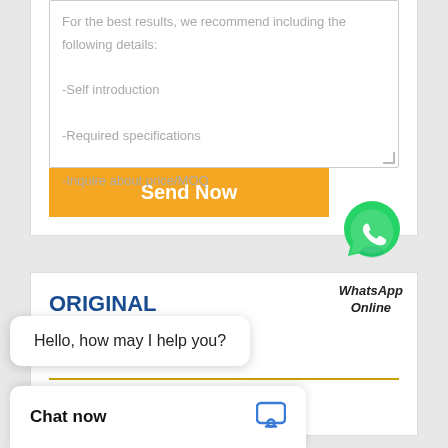For the best results, we recommend including the following details:
-Self introduction
-Required specifications
-Inquire about price/MOQ
Send Now
[Figure (logo): WhatsApp green phone icon bubble]
WhatsApp Online
ORIGINAL HYDRAULIC PUMP CATEGORIES
...aulic Pump
Hello, how may I help you?
Chat now